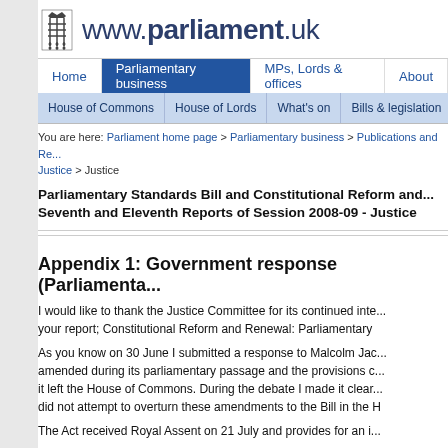www.parliament.uk
Home | Parliamentary business | MPs, Lords & offices | About
House of Commons | House of Lords | What's on | Bills & legislation
You are here: Parliament home page > Parliamentary business > Publications and Re... Justice > Justice
Parliamentary Standards Bill and Constitutional Reform and... Seventh and Eleventh Reports of Session 2008-09 - Justice
Appendix 1: Government response (Parliamenta...
I would like to thank the Justice Committee for its continued inte... your report; Constitutional Reform and Renewal: Parliamentary
As you know on 30 June I submitted a response to Malcolm Jac... amended during its parliamentary passage and the provisions c... it left the House of Commons. During the debate I made it clear... did not attempt to overturn these amendments to the Bill in the H
The Act received Royal Assent on 21 July and provides for an i...